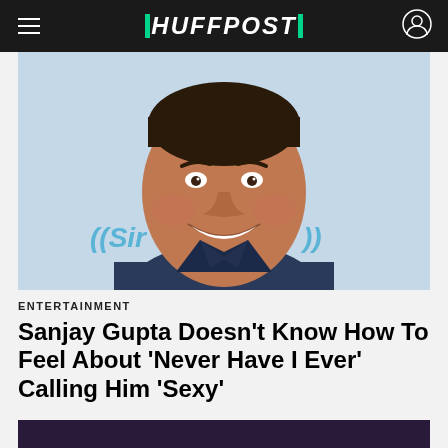HUFFPOST
[Figure (photo): Headshot of Sanjay Gupta smiling in front of a SiriusXM backdrop, wearing a dark shirt]
ENTERTAINMENT
Sanjay Gupta Doesn't Know How To Feel About 'Never Have I Ever' Calling Him 'Sexy'
The CNN chief medical correspondent seemed befuddled – but charmed! – by the Netflix show's obvious crush on him.